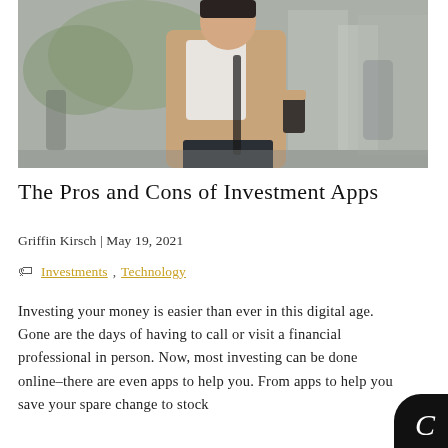[Figure (photo): Woman in a tan/beige coat holding a smartphone, walking on a city street with blurred urban background]
The Pros and Cons of Investment Apps
Griffin Kirsch | May 19, 2021
Investments , Technology
Investing your money is easier than ever in this digital age. Gone are the days of having to call or visit a financial professional in person. Now, most investing can be done online–there are even apps to help you. From apps to help you save your spare change to stock